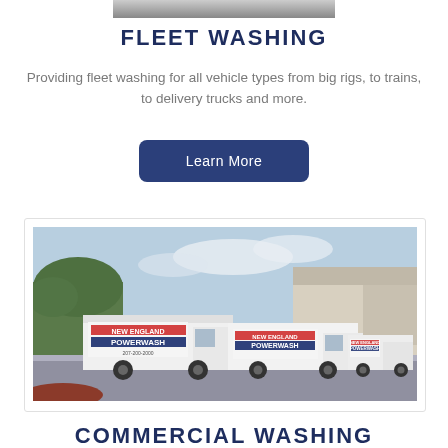[Figure (photo): Partial view of a vehicle/equipment being washed, top portion cut off]
FLEET WASHING
Providing fleet washing for all vehicle types from big rigs, to trains, to delivery trucks and more.
[Figure (other): Learn More button — dark navy blue rounded rectangle with white text]
[Figure (photo): Two white New England Powerwash branded trucks parked in a lot in front of a building, surrounded by trees under a partly cloudy sky]
COMMERCIAL WASHING